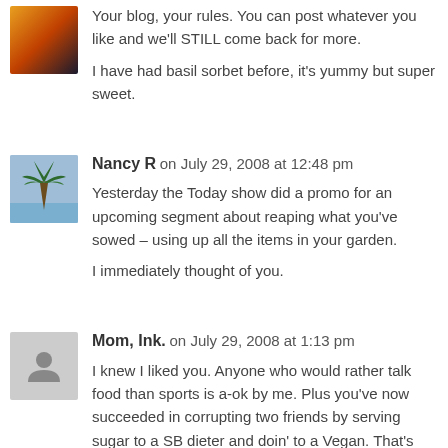Your blog, your rules. You can post whatever you like and we'll STILL come back for more.
I have had basil sorbet before, it's yummy but super sweet.
Nancy R on July 29, 2008 at 12:48 pm
Yesterday the Today show did a promo for an upcoming segment about reaping what you've sowed – using up all the items in your garden.
I immediately thought of you.
Mom, Ink. on July 29, 2008 at 1:13 pm
I knew I liked you. Anyone who would rather talk food than sports is a-ok by me. Plus you've now succeeded in corrupting two friends by serving sugar to a SB dieter and doin' to a Vegan. That's